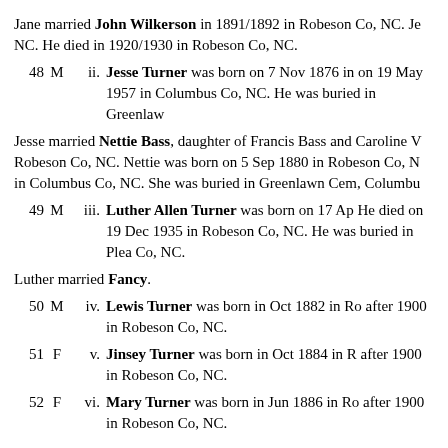Jane married John Wilkerson in 1891/1892 in Robeson Co, NC. He died in 1920/1930 in Robeson Co, NC.
48  M  ii.  Jesse Turner was born on 7 Nov 1876 in on 19 May 1957 in Columbus Co, NC. He was buried in Greenlawn
Jesse married Nettie Bass, daughter of Francis Bass and Caroline V Robeson Co, NC. Nettie was born on 5 Sep 1880 in Robeson Co, N in Columbus Co, NC. She was buried in Greenlawn Cem, Columbu
49  M  iii.  Luther Allen Turner was born on 17 Ap He died on 19 Dec 1935 in Robeson Co, NC. He was buried in Plea Co, NC.
Luther married Fancy.
50  M  iv.  Lewis Turner was born in Oct 1882 in Ro after 1900 in Robeson Co, NC.
51  F  v.  Jinsey Turner was born in Oct 1884 in R after 1900 in Robeson Co, NC.
52  F  vi.  Mary Turner was born in Jun 1886 in Ro after 1900 in Robeson Co, NC.